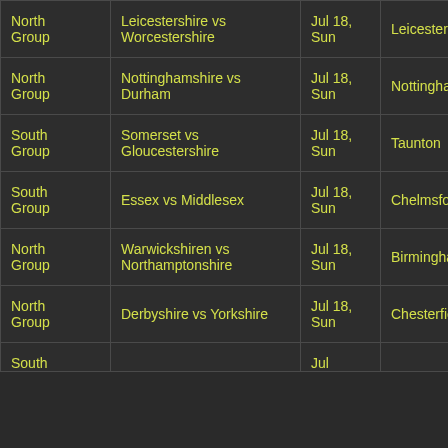| Group | Match | Date | Venue |
| --- | --- | --- | --- |
| North Group | Leicestershire vs Worcestershire | Jul 18, Sun | Leicester |
| North Group | Nottinghamshire vs Durham | Jul 18, Sun | Nottingham |
| South Group | Somerset vs Gloucestershire | Jul 18, Sun | Taunton |
| South Group | Essex vs Middlesex | Jul 18, Sun | Chelmsford |
| North Group | Warwickshiren vs Northamptonshire | Jul 18, Sun | Birmingham |
| North Group | Derbyshire vs Yorkshire | Jul 18, Sun | Chesterfield |
| South Group | ... | Jul | ... |